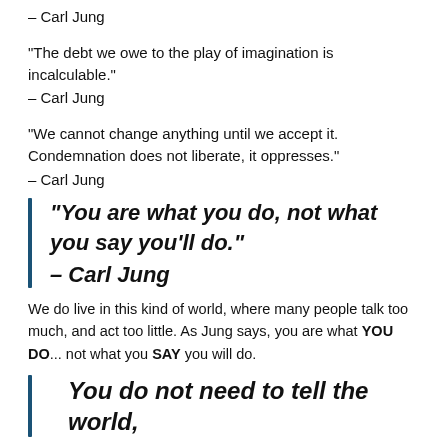– Carl Jung
“The debt we owe to the play of imagination is incalculable.”
– Carl Jung
“We cannot change anything until we accept it. Condemnation does not liberate, it oppresses.”
– Carl Jung
“You are what you do, not what you say you’ll do.” – Carl Jung
We do live in this kind of world, where many people talk too much, and act too little. As Jung says, you are what YOU DO... not what you SAY you will do.
You do not need to tell the world,